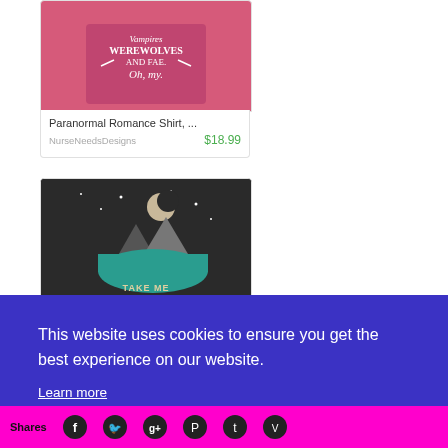[Figure (photo): Pink t-shirt with text about paranormal romance: 'VAMPIRES, WEREWOLVES, AND FAE. Oh, my.' worn by a person]
Paranormal Romance Shirt, ...
NurseNeedsDesigns
$18.99
[Figure (photo): Dark t-shirt with mountain and moon scene and teal boat graphic, text 'TAKE ME BOTH', worn by a person with blonde hair]
This website uses cookies to ensure you get the best experience on our website.
Learn more
Got it!
Shares